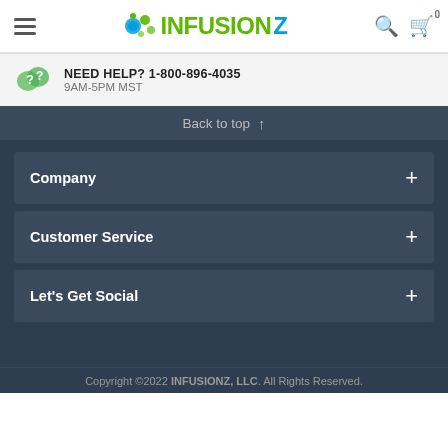INFUSIONZ — hamburger menu, logo, search, cart
NEED HELP? 1-800-896-4035
9AM-5PM MST
Back to top
Company +
Customer Service +
Let's Get Social +
Copyright ©2022 INFUSIONZ, LLC. All Rights Reserved.